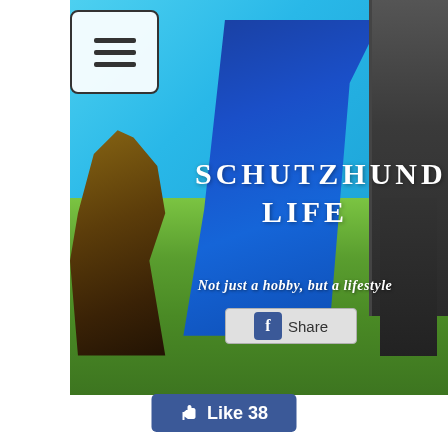[Figure (photo): A German Shepherd dog in mid-lunge toward the camera with mouth open, facing a trainer holding a large blue protection sleeve/banner on a grassy field under a blue sky. A person in a protective suit is visible on the right edge.]
SCHUTZHUND LIFE
Not just a hobby, but a lifestyle
Share
Like 38